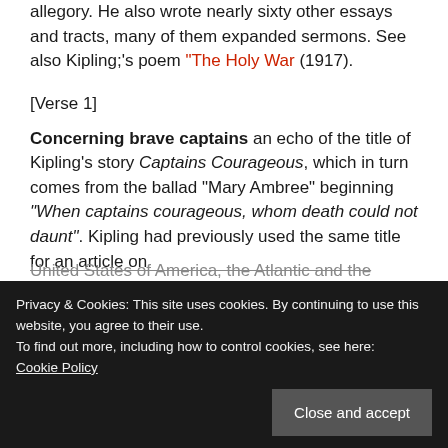allegory. He also wrote nearly sixty other essays and tracts, many of them expanded sermons. See also Kipling;'s poem "The Holy War (1917).
[Verse 1]
Concerning brave captains an echo of the title of Kipling's story Captains Courageous, which in turn comes from the ballad "Mary Ambree" beginning "When captains courageous, whom death could not daunt". Kipling had previously used the same title for an article on
Privacy & Cookies: This site uses cookies. By continuing to use this website, you agree to their use.
To find out more, including how to control cookies, see here:
Cookie Policy
United States of America, the Atlantic and the Pacific Oceans.